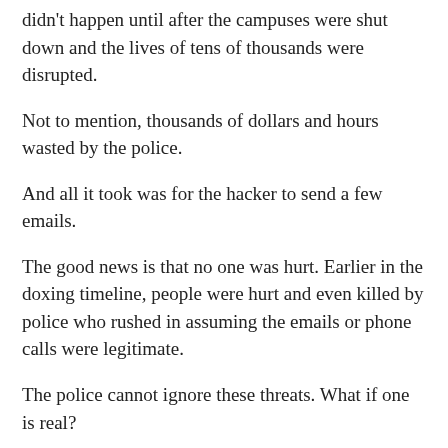didn't happen until after the campuses were shut down and the lives of tens of thousands were disrupted.
Not to mention, thousands of dollars and hours wasted by the police.
And all it took was for the hacker to send a few emails.
The good news is that no one was hurt. Earlier in the doxing timeline, people were hurt and even killed by police who rushed in assuming the emails or phone calls were legitimate.
The police cannot ignore these threats. What if one is real?
But somehow they have to figure out how to respond. That is not easy.
In the meantime, people with a grudge can cause a major disruption.